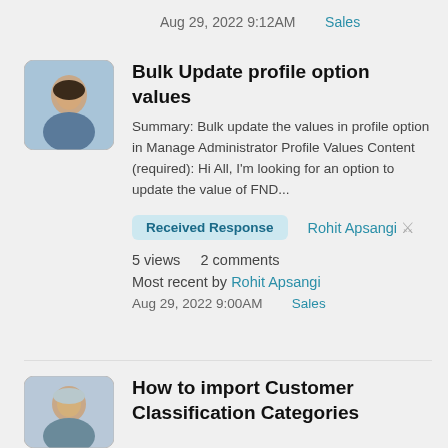Aug 29, 2022 9:12AM   Sales
[Figure (photo): Profile avatar photo of a young man outdoors]
Bulk Update profile option values
Summary: Bulk update the values in profile option in Manage Administrator Profile Values Content (required): Hi All, I'm looking for an option to update the value of FND...
Received Response   Rohit Apsangi 🏆
5 views   2 comments
Most recent by Rohit Apsangi
Aug 29, 2022 9:00AM   Sales
[Figure (photo): Profile avatar photo of a young man]
How to import Customer Classification Categories